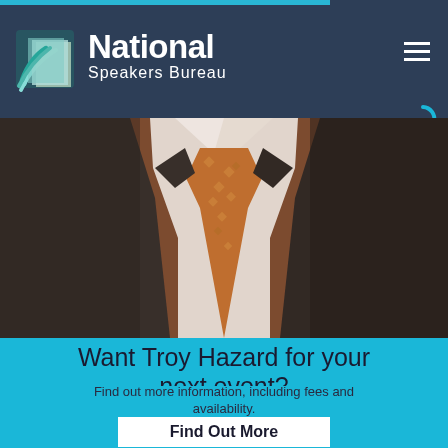National Speakers Bureau
[Figure (photo): Close-up of a man in a dark suit with an orange/copper tie, wearing a white dress shirt. Only the torso and neck area visible.]
Want Troy Hazard for your next event?
Find out more information, including fees and availability.
Find Out More